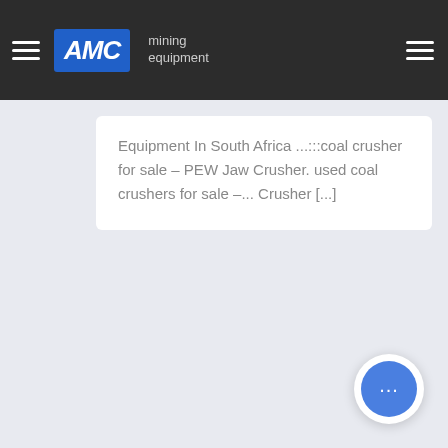[Figure (logo): AMC Mining Equipment logo in navigation bar with hamburger menus on both sides]
Equipment In South Africa ...:::coal crusher for sale - PEW Jaw Crusher. used coal crushers for sale –... Crusher [...]